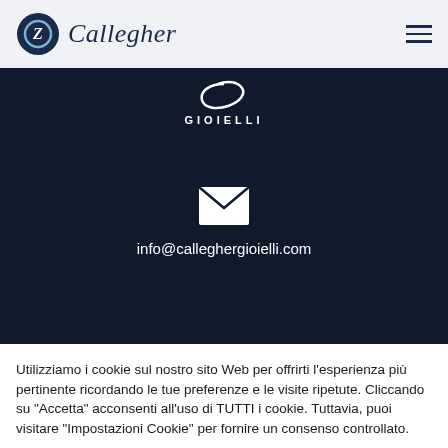Callegher Gioielli
[Figure (logo): Callegher Gioielli logo with ring symbol and GIOIELLI text on dark background]
info@calleghergioielli.com
Utilizziamo i cookie sul nostro sito Web per offrirti l'esperienza più pertinente ricordando le tue preferenze e le visite ripetute. Cliccando su "Accetta" acconsenti all'uso di TUTTI i cookie. Tuttavia, puoi visitare "Impostazioni Cookie" per fornire un consenso controllato.
Impostazione Cookie | Accetta